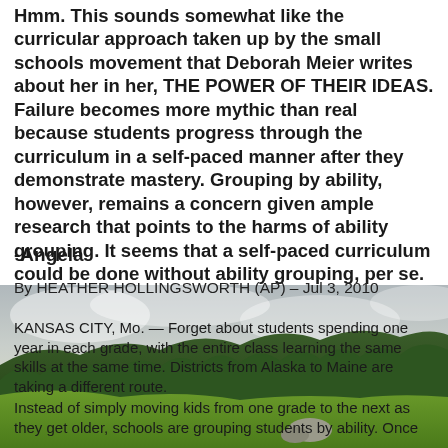Hmm. This sounds somewhat like the curricular approach taken up by the small schools movement that Deborah Meier writes about her in her, THE POWER OF THEIR IDEAS. Failure becomes more mythic than real because students progress through the curriculum in a self-paced manner after they demonstrate mastery. Grouping by ability, however, remains a concern given ample research that points to the harms of ability grouping. It seems that a self-paced curriculum could be done without ability grouping, per se.
-Angela
By HEATHER HOLLINGSWORTH (AP) – Jul 3, 2010
[Figure (photo): Landscape photo with cloudy sky, hills with trees and green fields in foreground]
KANSAS CITY, Mo. — Forget about students spending one year in each grade, with the entire class learning the same skills at the same time. Districts from Alaska to Maine are taking a different route.
Instead of simply moving kids from one grade to the next as they get older, schools are grouping students by ability. Once